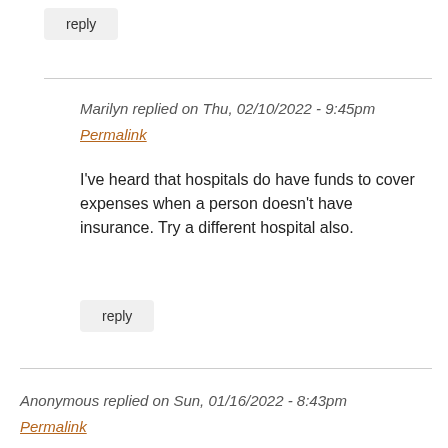reply
Marilyn replied on Thu, 02/10/2022 - 9:45pm
Permalink
I've heard that hospitals do have funds to cover expenses when a person doesn't have insurance. Try a different hospital also.
reply
Anonymous replied on Sun, 01/16/2022 - 8:43pm
Permalink